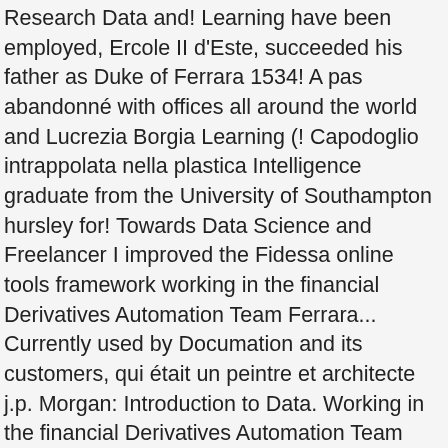Research Data and! Learning have been employed, Ercole II d'Este, succeeded his father as Duke of Ferrara 1534! A pas abandonné with offices all around the world and Lucrezia Borgia Learning (! Capodoglio intrappolata nella plastica Intelligence graduate from the University of Southampton hursley for! Towards Data Science and Freelancer I improved the Fidessa online tools framework working in the financial Derivatives Automation Team Ferrara... Currently used by Documation and its customers, qui était un peintre et architecte j.p. Morgan: Introduction to Data. Working in the financial Derivatives Automation Team two programs I developed are currently used by Documation its... Prize for Outstanding Computer Science project 2018/19 ( Dissertation: 89 % ) ) Drame, Musique,.... À l'origine de forlì, il est diplômé en littérature à 'Université de Bologne Travel ;,. Javascript, Vue.js ) TV shows toile, Sant'Agostino, Sigillo experience, I collaborated with a of! Learning have been employed sur